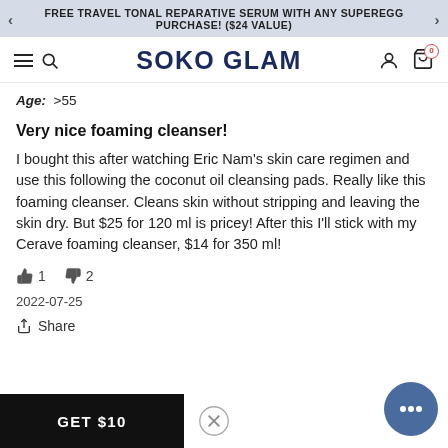FREE TRAVEL TONAL REPARATIVE SERUM WITH ANY SUPEREGG PURCHASE! ($24 VALUE)
[Figure (screenshot): Soko Glam website navigation bar with hamburger menu, search icon, SOKO GLAM logo, user icon, and cart icon with badge 0]
Age: >55
Very nice foaming cleanser!
I bought this after watching Eric Nam's skin care regimen and use this following the coconut oil cleansing pads. Really like this foaming cleanser. Cleans skin without stripping and leaving the skin dry. But $25 for 120 ml is pricey! After this I'll stick with my Cerave foaming cleanser, $14 for 350 ml!
👍 1   👎 2
2022-07-25
Share
GET $10